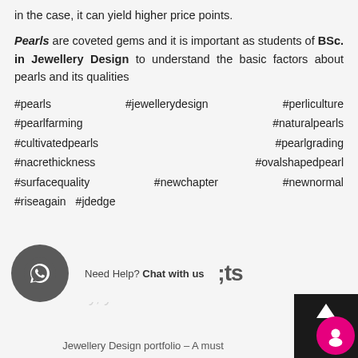in the case, it can yield higher price points.
Pearls are coveted gems and it is important as students of BSc. in Jewellery Design to understand the basic factors about pearls and its qualities
#pearls #jewellerydesign #perliculture #pearlfarming #naturalpearls #cultivatedpearls #pearlgrading #nacrethickness #ovalshapedpearl #surfacequality #newchapter #newnormal #riseagain #jdedge
Need Help? Chat with us
Jewellery Design portfolio – A must